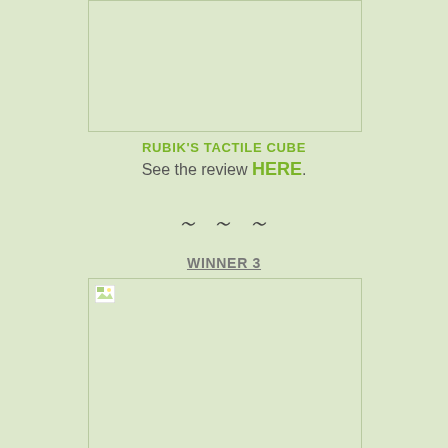[Figure (photo): Empty image placeholder box at the top of the page]
RUBIK'S TACTILE CUBE
See the review HERE.
~ ~ ~
WINNER 3
[Figure (photo): Image placeholder box for Winner 3 with broken image icon in top-left corner]